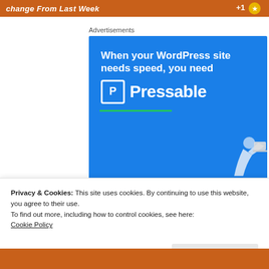change From Last Week +1
Advertisements
[Figure (screenshot): Blue advertisement banner for Pressable WordPress hosting. White bold text reads 'When your WordPress site needs speed, you need' followed by a P logo box and 'Pressable' in large white text. A green horizontal line separator is below. A person holding a laptop is shown in the lower right corner.]
Privacy & Cookies: This site uses cookies. By continuing to use this website, you agree to their use.
To find out more, including how to control cookies, see here:
Cookie Policy
Close and accept